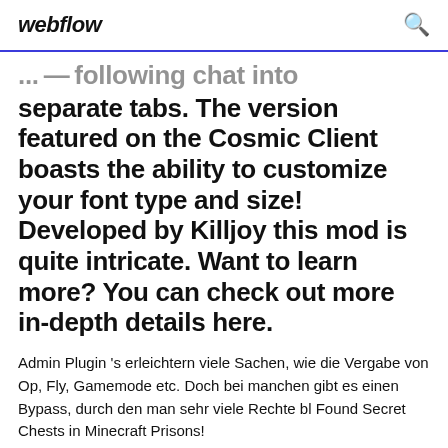webflow
...the following chat into separate tabs. The version featured on the Cosmic Client boasts the ability to customize your font type and size! Developed by Killjoy this mod is quite intricate. Want to learn more? You can check out more in-depth details here.
Admin Plugin 's erleichtern viele Sachen, wie die Vergabe von Op, Fly, Gamemode etc. Doch bei manchen gibt es einen Bypass, durch den man sehr viele Rechte bl Found Secret Chests in Minecraft Prisons!